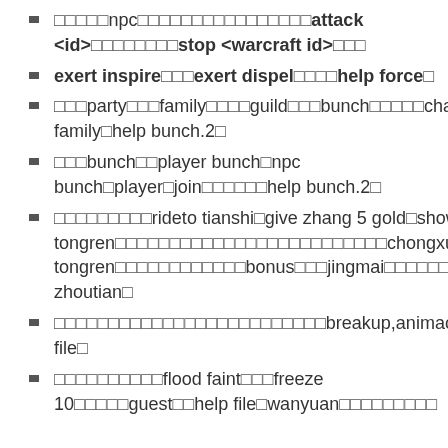□□□□□npc□□□□□□□□□□□□□□□□attack <id>□□□□□□□□stop <warcraft id>□□□
exert inspire□□□exert dispel□□□□help force□
□□□party□□□family□□□□guild□□□bunch□□□□□channel□□□party□guild□□help family□help bunch.2□
□□□bunch□□player bunch□npc bunch□player□join□□□□□□help bunch.2□
□□□□□□□□□rideto tianshi□give zhang 5 gold□show tongren□□□□□□□□□□□□□□□□□□□□□□□□□chongxue tongren□□□□□□□□□□□□bonus□□□jingmai□□□□□□□help zhoutian□
□□□□□□□□□□□□□□□□□□□□□□□□breakup,animaout,death,closed□□□□□□help file□
□□□□□□□□□□flood faint□□□freeze 10□□□□□guest□□help file□wanyuan□□□□□□□□□